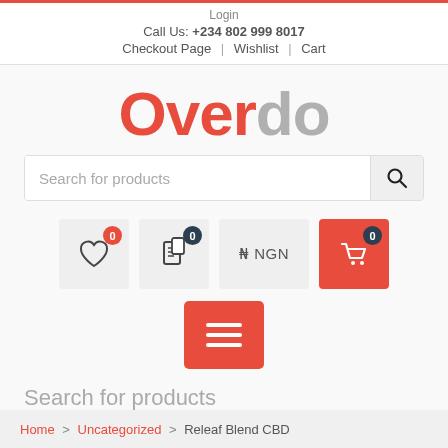Login
Call Us: +234 802 999 8017
Checkout Page | Wishlist | Cart
Overdo
[Figure (screenshot): Search bar with placeholder text 'Search for products' and a search icon button on the right]
[Figure (infographic): Row of icon buttons: wishlist (heart with badge 0), compare (document with badge 0), currency selector (NGN), and cart (shopping cart with badge 0 on red background)]
[Figure (infographic): Red button with three horizontal white lines (hamburger/menu icon)]
Search for products
Home > Uncategorized > Releaf Blend CBD